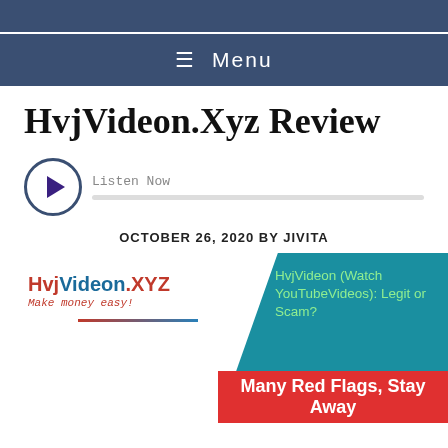≡ Menu
HvjVideon.Xyz Review
[Figure (other): Audio player with play button circle and listen now label with progress bar]
OCTOBER 26, 2020 BY JIVITA
[Figure (infographic): HvjVideon.XYZ Make money easy! logo on left with decorative line. On right: teal/blue angled block with text 'HvjVideon (Watch YouTubeVideos): Legit or Scam?' in green, and red block below with 'Many Red Flags, Stay Away']